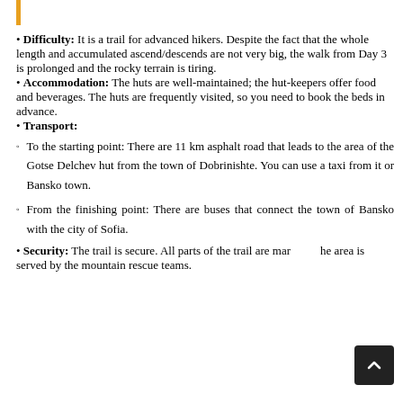Difficulty: It is a trail for advanced hikers. Despite the fact that the whole length and accumulated ascend/descends are not very big, the walk from Day 3 is prolonged and the rocky terrain is tiring.
Accommodation: The huts are well-maintained; the hut-keepers offer food and beverages. The huts are frequently visited, so you need to book the beds in advance.
Transport: To the starting point: There are 11 km asphalt road that leads to the area of the Gotse Delchev hut from the town of Dobrinishte. You can use a taxi from it or Bansko town. From the finishing point: There are buses that connect the town of Bansko with the city of Sofia.
Security: The trail is secure. All parts of the trail are marked. The area is served by the mountain rescue teams.